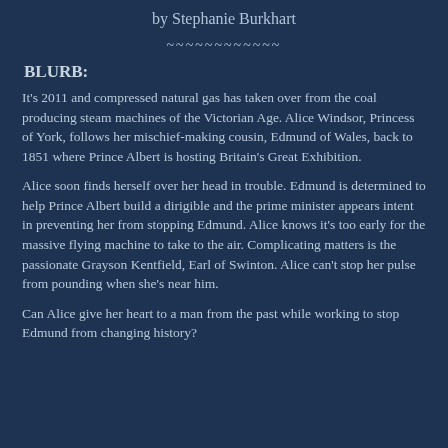by Stephanie Burkhart
~~~~~~~~~~~~
BLURB:
It's 2011 and compressed natural gas has taken over from the coal producing steam machines of the Victorian Age. Alice Windsor, Princess of York, follows her mischief-making cousin, Edmund of Wales, back to 1851 where Prince Albert is hosting Britain's Great Exhibition.
Alice soon finds herself over her head in trouble. Edmund is determined to help Prince Albert build a dirigible and the prime minister appears intent in preventing her from stopping Edmund. Alice knows it's too early for the massive flying machine to take to the air. Complicating matters is the passionate Grayson Kentfield, Earl of Swinton. Alice can't stop her pulse from pounding when she's near him.
Can Alice give her heart to a man from the past while working to stop Edmund from changing history?